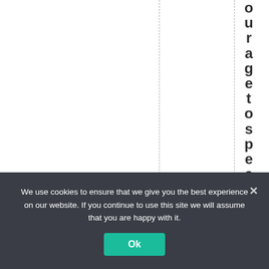ouragetopeakwheni
We use cookies to ensure that we give you the best experience on our website. If you continue to use this site we will assume that you are happy with it.
Ok